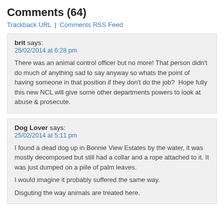Comments (64)
Trackback URL | Comments RSS Feed
brit says:
25/02/2014 at 6:28 pm

There was an animal control officer but no more! That person didn't do much of anything sad to say anyway so whats the point of having someone in that position if they don't do the job?  Hope fully this new NCL will give some other departments powers to look at abuse & prosecute.
Dog Lover says:
25/02/2014 at 5:11 pm

I found a dead dog up in Bonnie View Estates by the water, it was mostly decomposed but still had a collar and a rope attached to it. It was just dumped on a piile of palm leaves.

I would imagine it probably suffered the same way.

disguting the way animals are treated here.